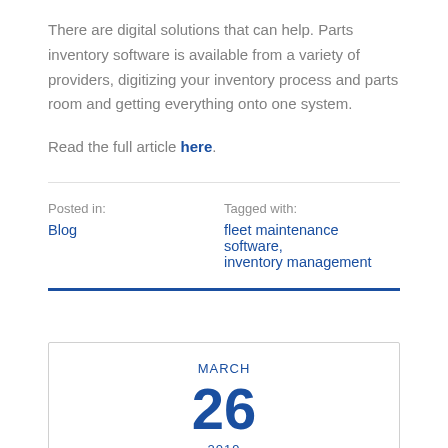There are digital solutions that can help. Parts inventory software is available from a variety of providers, digitizing your inventory process and parts room and getting everything onto one system.
Read the full article here.
Posted in:
Blog
Tagged with:
fleet maintenance software, inventory management
MARCH 26 2019